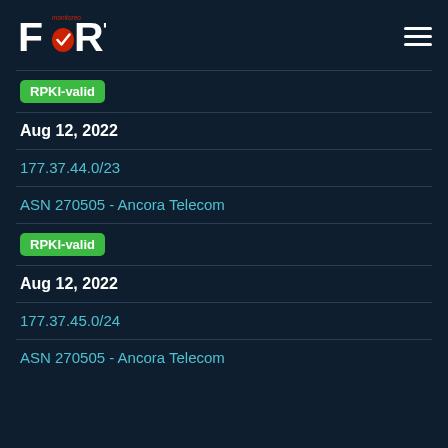FORT monitoreo
RPKI-valid
Aug 12, 2022
177.37.44.0/23
ASN 270505 - Ancora Telecom
RPKI-valid
Aug 12, 2022
177.37.45.0/24
ASN 270505 - Ancora Telecom